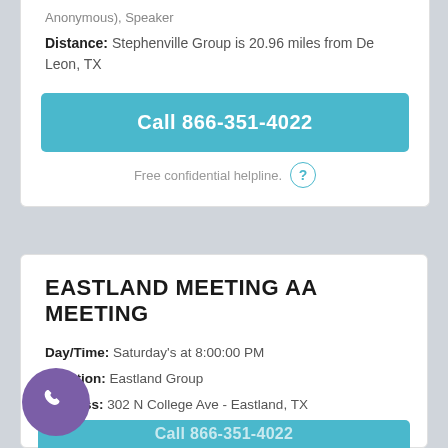Anonymous), Speaker
Distance: Stephenville Group is 20.96 miles from De Leon, TX
Call 866-351-4022
Free confidential helpline.
EASTLAND MEETING AA MEETING
Day/Time: Saturday's at 8:00:00 PM
Location: Eastland Group
Address: 302 N College Ave - Eastland, TX
Meeting Notes: Closed AA Meeting
Distance: Eastland Meeting is 26.69 miles from De Leon, TX